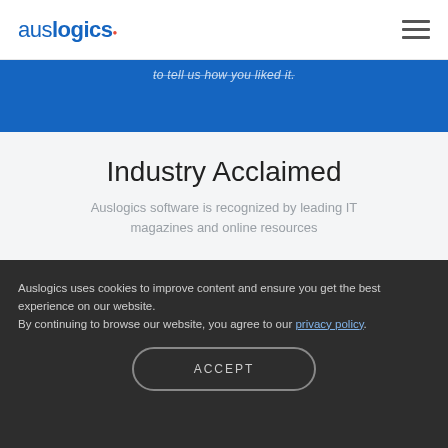auslogics
to tell us how you liked it.
Industry Acclaimed
Auslogics software is recognized by leading IT magazines and online resources
Auslogics uses cookies to improve content and ensure you get the best experience on our website. By continuing to browse our website, you agree to our privacy policy.
ACCEPT